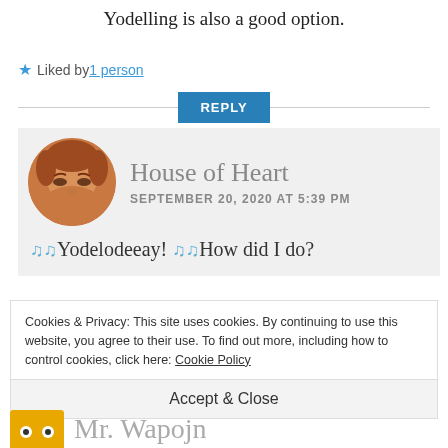Yodelling is also a good option.
★ Liked by 1 person
REPLY
House of Heart
SEPTEMBER 20, 2020 AT 5:39 PM
🎵Yodelodeeay! 🎵How did I do?
Cookies & Privacy: This site uses cookies. By continuing to use this website, you agree to their use. To find out more, including how to control cookies, click here: Cookie Policy
Accept & Close
Mr. Wapojn